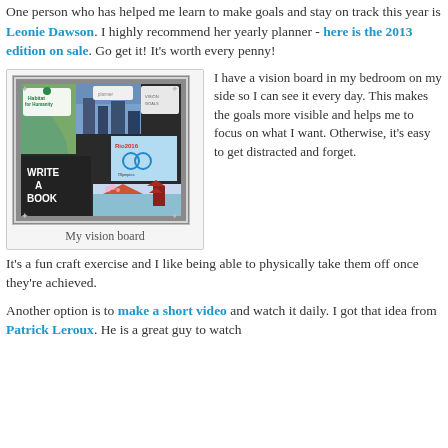One person who has helped me learn to make goals and stay on track this year is Leonie Dawson. I highly recommend her yearly planner - here is the 2013 edition on sale. Go get it! It's worth every penny!
[Figure (photo): A vision board in a frame with various images including Habitat for Humanity logo, Rio 2016 Olympics logo, text 'WRITE A BOOK', and travel/nature photos.]
My vision board
I have a vision board in my bedroom on my side so I can see it every day. This makes the goals more visible and helps me to focus on what I want. Otherwise, it's easy to get distracted and forget. It's a fun craft exercise and I like being able to physically take them off once they're achieved.
Another option is to make a short video and watch it daily. I got that idea from Patrick Leroux. He is a great guy to watch